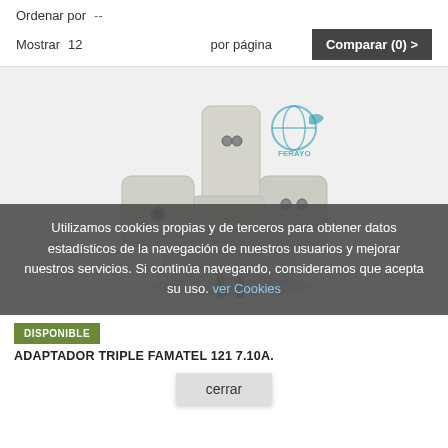Ordenar por  --
Mostrar  12  por página
Comparar (0) >
[Figure (photo): White triple electrical plug adapter (FAMATEL 121 7.10A) photographed on light grey background, showing a compact X-shaped adapter with three socket ports and two plug pins, with a small globe/world logo watermark visible.]
Utilizamos cookies propias y de terceros para obtener datos estadísticos de la navegación de nuestros usuarios y mejorar nuestros servicios. Si continúa navegando, consideramos que acepta su uso. ver Cookies
DISPONIBLE
ADAPTADOR TRIPLE FAMATEL 121 7.10A.
cerrar